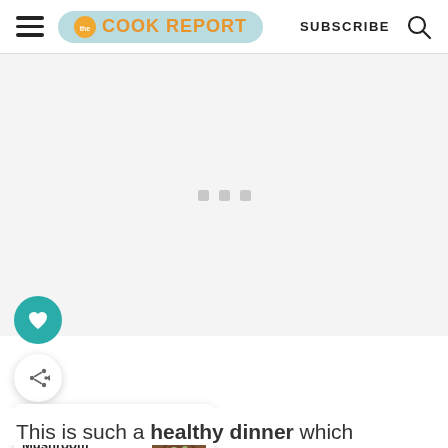The Cook Report — SUBSCRIBE
[Figure (screenshot): Light gray ad placeholder area with three small gray squares in the center]
[Figure (illustration): Teal circular button with white heart icon (save/favorite)]
[Figure (illustration): White circular button with share icon]
[Figure (screenshot): What's Next card showing Mushroom Stew with... thumbnail of soup bowl]
This is such a healthy dinner which